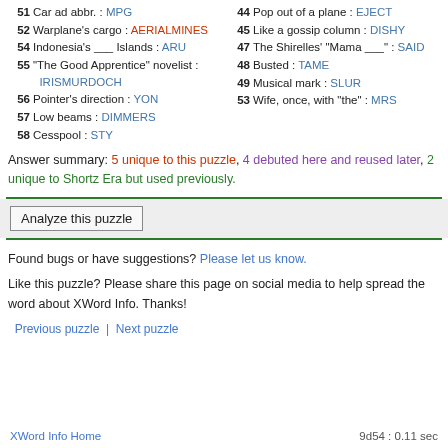51 Car ad abbr. : MPG
52 Warplane's cargo : AERIALMINES
54 Indonesia's ___ Islands : ARU
55 "The Good Apprentice" novelist : IRISMURDOCH
56 Pointer's direction : YON
57 Low beams : DIMMERS
58 Cesspool : STY
44 Pop out of a plane : EJECT
45 Like a gossip column : DISHY
47 The Shirelles' "Mama ___" : SAID
48 Busted : TAME
49 Musical mark : SLUR
53 Wife, once, with "the" : MRS
Answer summary: 5 unique to this puzzle, 4 debuted here and reused later, 2 unique to Shortz Era but used previously.
Analyze this puzzle
Found bugs or have suggestions? Please let us know.
Like this puzzle? Please share this page on social media to help spread the word about XWord Info. Thanks!
Previous puzzle  |  Next puzzle
XWord Info Home    9d54 : 0.11 sec